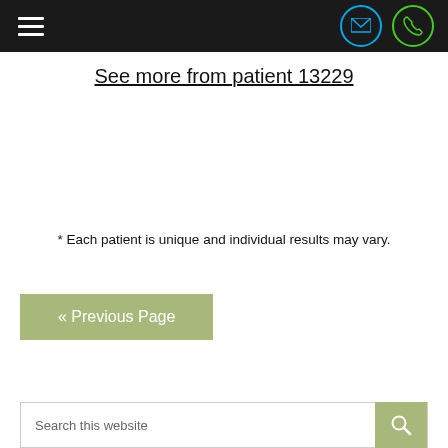Menu | Email | Phone
See more from patient 13229
* Each patient is unique and individual results may vary.
« Previous Page
Search this website